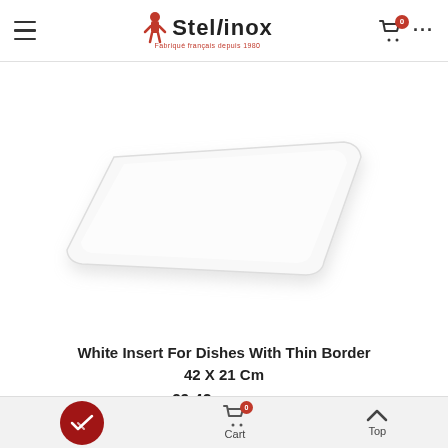Stellinox — Fabriqué français depuis 1980
[Figure (photo): A white rectangular insert for dishes with thin border, shown at a slight angle on a white background. The insert is approximately 42 x 21 cm, has a flat, clean surface with rounded corners.]
White Insert For Dishes With Thin Border 42 X 21 Cm
€9.42  (tax excl.)
Cart  Top